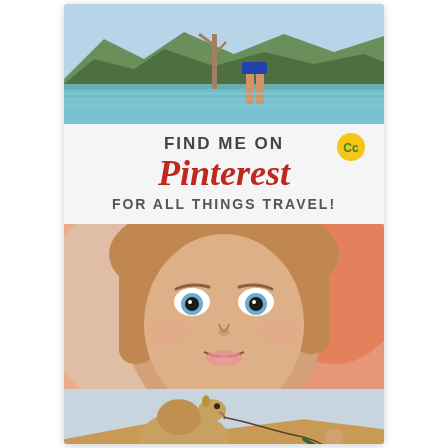[Figure (photo): Person wading in turquoise water with mountains and dead trees in background]
FIND ME ON Pinterest FOR ALL THINGS TRAVEL!
[Figure (photo): Close-up of young woman with blue eyes making a face, colorful background]
[Figure (photo): Person leading a camel on a sandy desert dune]